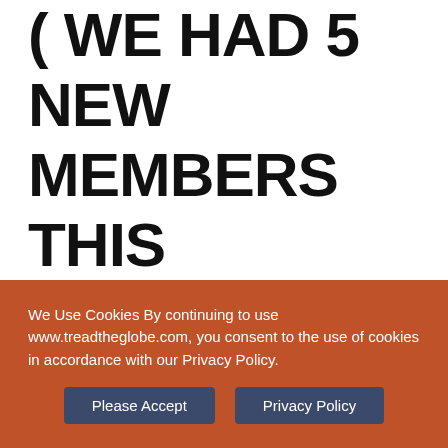( WE HAD 5 NEW MEMBERS THIS MONTH) AND IF YOU ARE ONE OF THEM  WE WANT TO SAY A HUGE THANK YOU, YOUR SUPPORT  AND
We Use Cookies By continuing to use www.treadtheglobe.com, you consent to the use of cookies in accordance with our Privacy Policy.
Please Accept
Privacy Policy